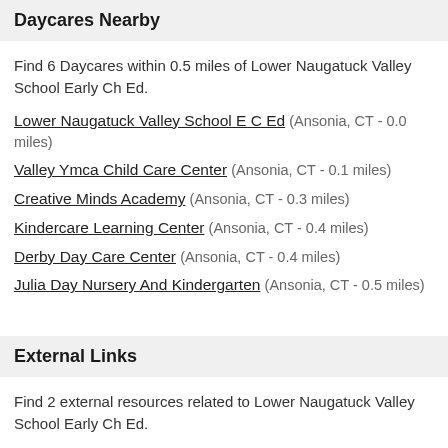Daycares Nearby
Find 6 Daycares within 0.5 miles of Lower Naugatuck Valley School Early Ch Ed.
Lower Naugatuck Valley School E C Ed (Ansonia, CT - 0.0 miles)
Valley Ymca Child Care Center (Ansonia, CT - 0.1 miles)
Creative Minds Academy (Ansonia, CT - 0.3 miles)
Kindercare Learning Center (Ansonia, CT - 0.4 miles)
Derby Day Care Center (Ansonia, CT - 0.4 miles)
Julia Day Nursery And Kindergarten (Ansonia, CT - 0.5 miles)
External Links
Find 2 external resources related to Lower Naugatuck Valley School Early Ch Ed.